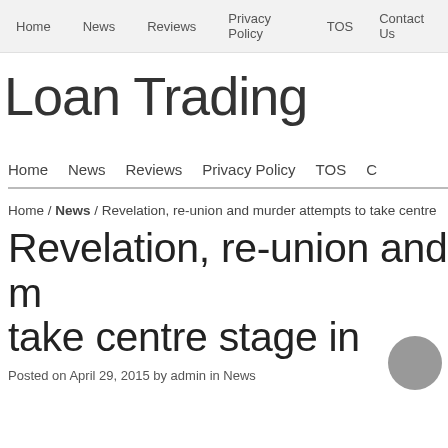Home  News  Reviews  Privacy Policy  TOS  Contact Us
Loan Trading
Home  News  Reviews  Privacy Policy  TOS
Home / News / Revelation, re-union and murder attempts to take centre
Revelation, re-union and m... take centre stage in Colors'
Posted on April 29, 2015 by admin in News